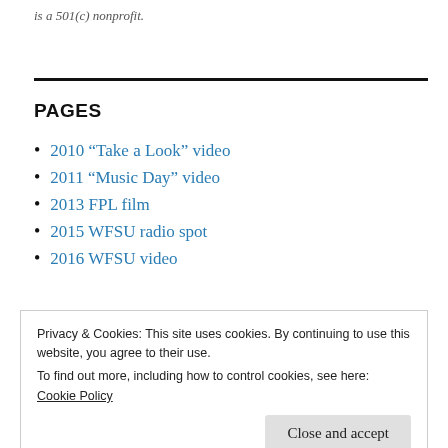is a 501(c) nonprofit.
PAGES
2010 “Take a Look” video
2011 “Music Day” video
2013 FPL film
2015 WFSU radio spot
2016 WFSU video
Privacy & Cookies: This site uses cookies. By continuing to use this website, you agree to their use.
To find out more, including how to control cookies, see here:
Cookie Policy
Close and accept